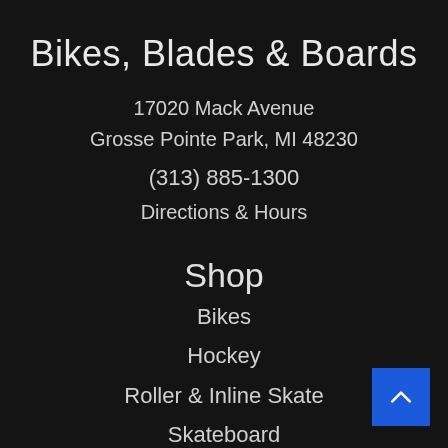Bikes, Blades & Boards
17020 Mack Avenue
Grosse Pointe Park, MI 48230
(313) 885-1300
Directions & Hours
Shop
Bikes
Hockey
Roller & Inline Skate
Skateboard
Services